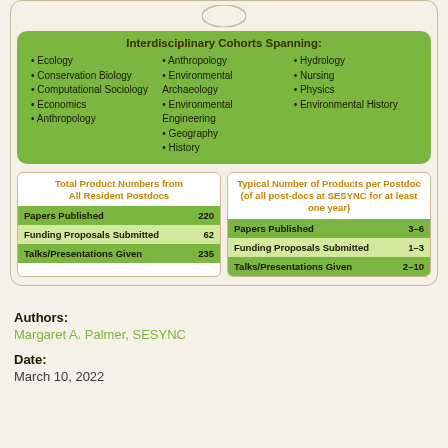[Figure (logo): SESYNC logo circle at top]
Interdisciplinary Cohorts Spanning:
Ecology
Conservation Biology
Computational Sociology
Economics
Anthropology
Anthropology
Environmental Archaeology
Environmental Engineering
Geography
History
Hydrology
Nursing
Physics
Environmental History
| Total Product Numbers from All Resident Postdocs |  |
| --- | --- |
| Papers Published | 220 |
| Funding Proposals Submitted | 62 |
| Talks/Presentations Given | 235 |
| Typical Number of Products per Postdoc (of all post-docs at SESYNC for at least one year) |  |
| --- | --- |
| Papers Published | 3–6 |
| Funding Proposals Submitted | 1–3 |
| Talks/Presentations Given | 2–10 |
Authors:
Margaret A. Palmer, SESYNC
Date:
March 10, 2022